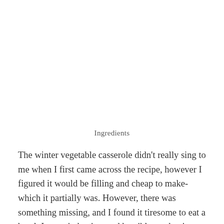Ingredients
The winter vegetable casserole didn't really sing to me when I first came across the recipe, however I figured it would be filling and cheap to make- which it partially was. However, there was something missing, and I found it tiresome to eat a bowl. It wasn't that it tasted horrible, or that it